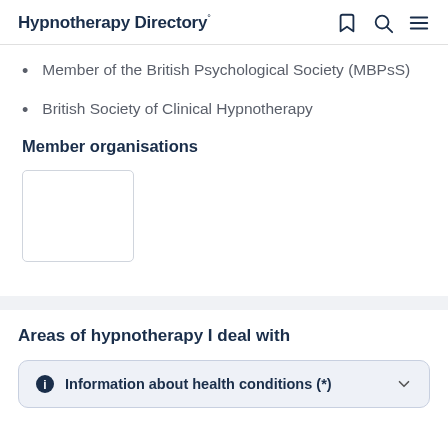Hypnotherapy Directory
Member of the British Psychological Society (MBPsS)
British Society of Clinical Hypnotherapy
Member organisations
[Figure (other): Empty white box with border representing a member organisation logo placeholder]
Areas of hypnotherapy I deal with
Information about health conditions (*)